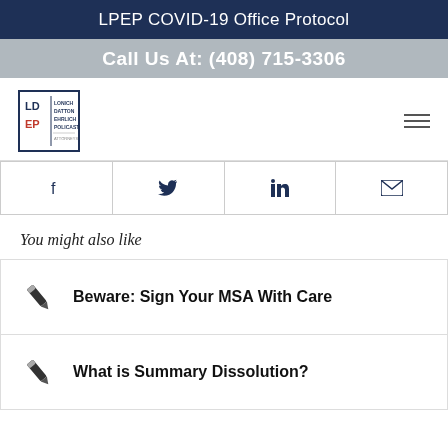LPEP COVID-19 Office Protocol
Call Us At: (408) 715-3306
[Figure (logo): LPEP law firm logo — square with LD/EP letters and firm name Lonich Datton Ehrlich Policastri, Attorneys at Law]
You might also like
Beware: Sign Your MSA With Care
What is Summary Dissolution?